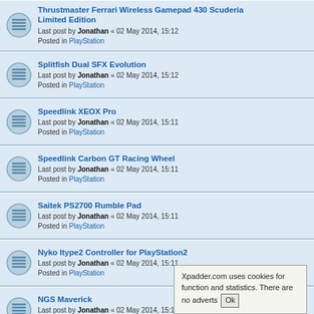Thrustmaster Ferrari Wireless Gamepad 430 Scuderia Limited Edition
Last post by Jonathan « 02 May 2014, 15:12
Posted in PlayStation
Splitfish Dual SFX Evolution
Last post by Jonathan « 02 May 2014, 15:12
Posted in PlayStation
Speedlink XEOX Pro
Last post by Jonathan « 02 May 2014, 15:11
Posted in PlayStation
Speedlink Carbon GT Racing Wheel
Last post by Jonathan « 02 May 2014, 15:11
Posted in PlayStation
Saitek PS2700 Rumble Pad
Last post by Jonathan « 02 May 2014, 15:11
Posted in PlayStation
Nyko Itype2 Controller for PlayStation2
Last post by Jonathan « 02 May 2014, 15:11
Posted in PlayStation
NGS Maverick
Last post by Jonathan « 02 May 2014, 15:11
Posted in PlayStation
Logic3 PowerPad - JP283
Last post by Jonathan « 02 May 2014, 15:11
Posted in PlayStation
Xpadder.com uses cookies for function and statistics. There are no adverts Ok
Leadership Gamer Joypad Vibration - 1022